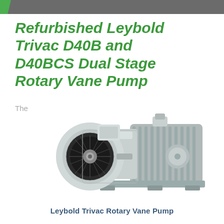Refurbished Leybold Trivac D40B and D40BCS Dual Stage Rotary Vane Pump
The
[Figure (photo): Photo of a Leybold Trivac dual stage rotary vane pump, grey colored industrial vacuum pump with motor and ribbed housing]
Leybold Trivac Rotary Vane Pump